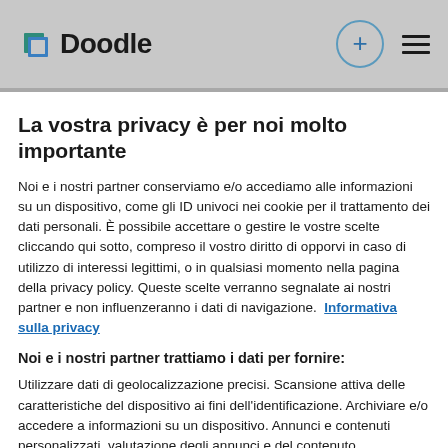Doodle
La vostra privacy è per noi molto importante
Noi e i nostri partner conserviamo e/o accediamo alle informazioni su un dispositivo, come gli ID univoci nei cookie per il trattamento dei dati personali. È possibile accettare o gestire le vostre scelte cliccando qui sotto, compreso il vostro diritto di opporvi in caso di utilizzo di interessi legittimi, o in qualsiasi momento nella pagina della privacy policy. Queste scelte verranno segnalate ai nostri partner e non influenzeranno i dati di navigazione. Informativa sulla privacy
Noi e i nostri partner trattiamo i dati per fornire:
Utilizzare dati di geolocalizzazione precisi. Scansione attiva delle caratteristiche del dispositivo ai fini dell'identificazione. Archiviare e/o accedere a informazioni su un dispositivo. Annunci e contenuti personalizzati, valutazione degli annunci e del contenuto,